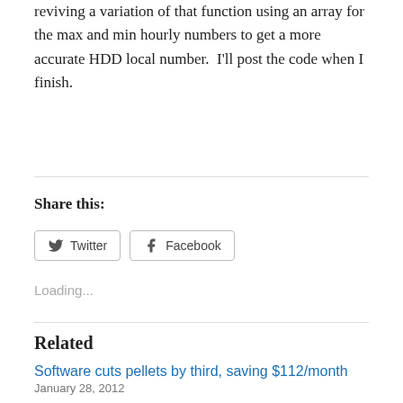reviving a variation of that function using an array for the max and min hourly numbers to get a more accurate HDD local number.  I'll post the code when I finish.
Share this:
Loading...
Related
Software cuts pellets by third, saving $112/month
January 28, 2012
In "Arduino"
Good test for the boiler with -5°F overnight temperature